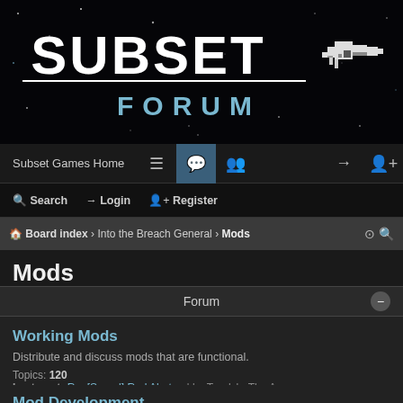[Figure (screenshot): Subset Games Forum banner with 'SUBSET' in large white pixel font, 'FORUM' in blue below, white horizontal line, pixel-art spaceship on right, on black starfield background]
Subset Games Home
Search | Login | Register
Board index > Into the Breach General > Mods
Mods
Forum
Working Mods
Distribute and discuss mods that are functional.
Topics: 120
Last post: Re: [Squad] Red Alert ... | by Truelch, Thu Aug ....
Mod Development
Discuss and distribute tools and methods for modding.